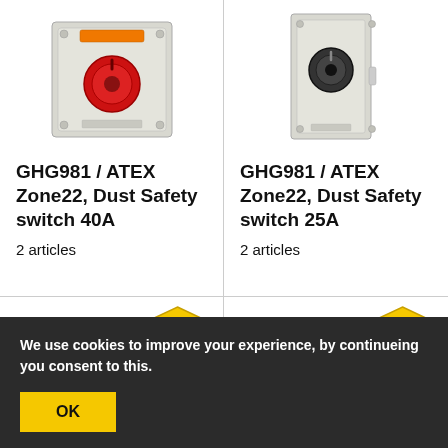[Figure (photo): GHG981 ATEX Zone22 Dust Safety switch 40A product photo – grey metal enclosure with red rotary switch handle]
GHG981 / ATEX Zone22, Dust Safety switch 40A
2 articles
[Figure (photo): GHG981 ATEX Zone22 Dust Safety switch 25A product photo – grey metal enclosure with black rotary switch]
GHG981 / ATEX Zone22, Dust Safety switch 25A
2 articles
[Figure (photo): Bottom-left product photo with ATEX Ex symbol badge – grey enclosure with black circular component]
[Figure (photo): Bottom-right product photo with ATEX Ex symbol badge – dark grey enclosure with red circular emblem]
We use cookies to improve your experience, by continueing you consent to this.
OK